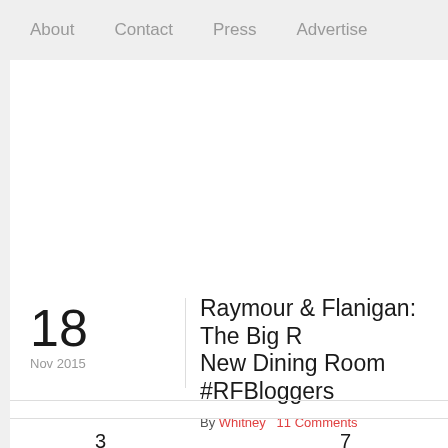About   Contact   Press   Advertise
Raymour & Flanigan: The Big R New Dining Room #RFBloggers
By Whitney   11 Comments
3
7